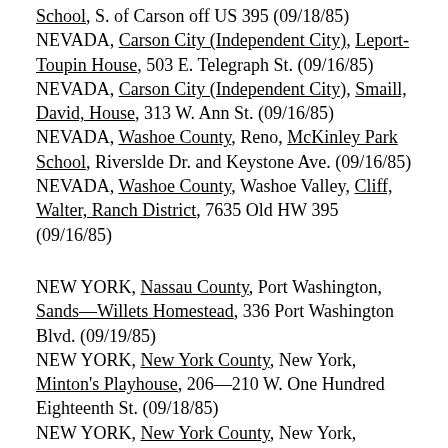School, S. of Carson off US 395 (09/18/85)
NEVADA, Carson City (Independent City), Leport-Toupin House, 503 E. Telegraph St. (09/16/85)
NEVADA, Carson City (Independent City), Smaill, David, House, 313 W. Ann St. (09/16/85)
NEVADA, Washoe County, Reno, McKinley Park School, Riverslde Dr. and Keystone Ave. (09/16/85)
NEVADA, Washoe County, Washoe Valley, Cliff, Walter, Ranch District, 7635 Old HW 395 (09/16/85)
NEW YORK, Nassau County, Port Washington, Sands—Willets Homestead, 336 Port Washington Blvd. (09/19/85)
NEW YORK, New York County, New York, Minton's Playhouse, 206—210 W. One Hundred Eighteenth St. (09/18/85)
NEW YORK, New York County, New York, Yiddish Art Theatre, 189 Second Ave. (09/19/85)